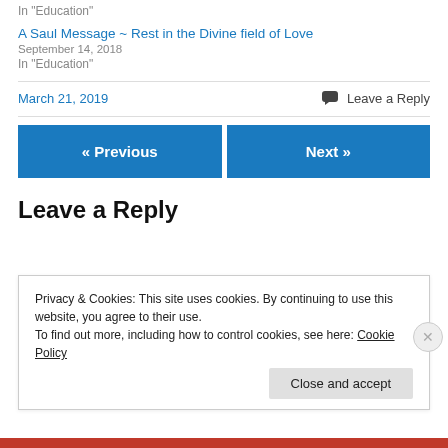In "Education"
A Saul Message ~ Rest in the Divine field of Love
September 14, 2018
In "Education"
March 21, 2019
💬 Leave a Reply
« Previous
Next »
Leave a Reply
Privacy & Cookies: This site uses cookies. By continuing to use this website, you agree to their use.
To find out more, including how to control cookies, see here: Cookie Policy
Close and accept